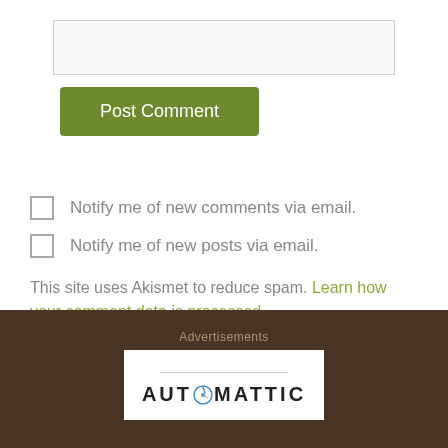[Figure (screenshot): Text input box for comment entry]
Post Comment
Notify me of new comments via email.
Notify me of new posts via email.
This site uses Akismet to reduce spam. Learn how your comment data is processed.
Advertisements
[Figure (logo): Automattic logo with compass icon replacing the O]